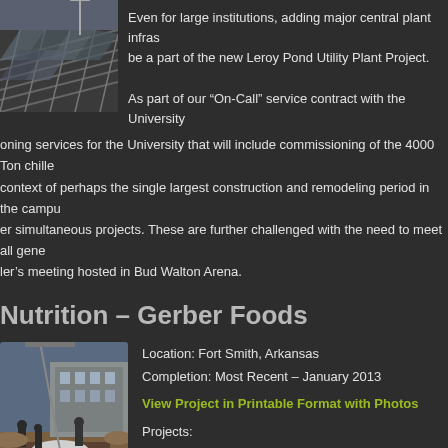[Figure (photo): Aerial or close-up photo of a solar panel or roof structure with metal framework]
Even for large institutions, adding major central plant infrastructure can be a part of the new Leroy Pond Utility Plant Project.
As part of our “On-Call” service contract with the University, oning services for the University that will include commissioning of the 4000 Ton chille context of perhaps the single largest construction and remodeling period in the campu er simultaneous projects. These are further challenged with the need to meet all gene ler’s meeting hosted in Bud Walton Arena.
Nutrition – Gerber Foods
[Figure (photo): Construction site photo showing workers and equipment in a trench with a building in background]
Location: Fort Smith, Arkansas
Completion: Most Recent – January 2013
View Project in Printable Format with Photos
Projects:
Air Pressurization / ACH Study
Microbiology Lab HVAC Design